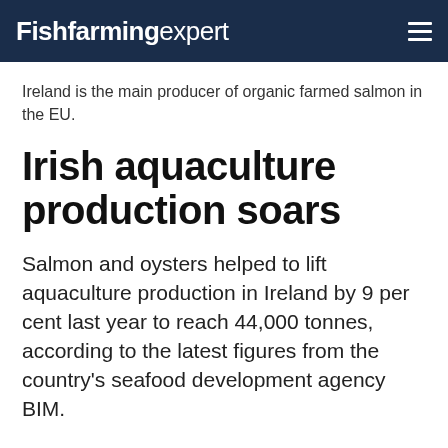Fishfarming expert
Ireland is the main producer of organic farmed salmon in the EU.
Irish aquaculture production soars
Salmon and oysters helped to lift aquaculture production in Ireland by 9 per cent last year to reach 44,000 tonnes, according to the latest figures from the country's seafood development agency BIM.